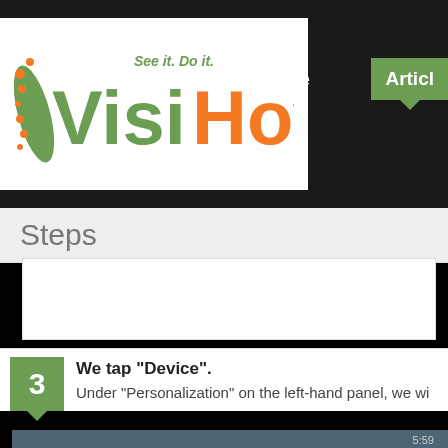[Figure (logo): VisiHow logo with tagline 'See it. Do it.' in green and orange text on white background]
Home  Articles
Steps
3  We tap "Device".
Under "Personalization" on the left-hand panel, we wi
[Figure (screenshot): Screenshot of a tablet showing Settings menu with Connections and Device tabs. Sound and display section visible with Sound, Display, and Multi window menu items. A hand is tapping the Device tab.]